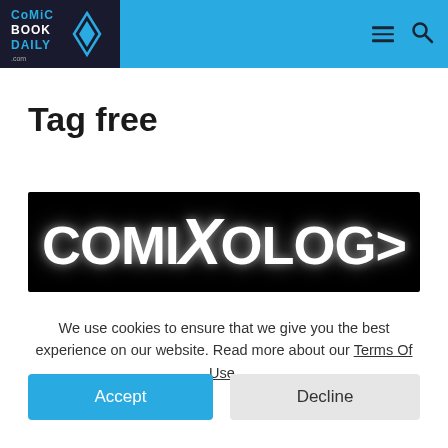[Figure (logo): Comic Book Daily logo on blue header bar with hamburger menu and search icon]
Tag free
[Figure (screenshot): ComiXology logo on black background, large white bold text reading COMIXOLOGY]
We use cookies to ensure that we give you the best experience on our website. Read more about our Terms Of Use.
Accept
Decline